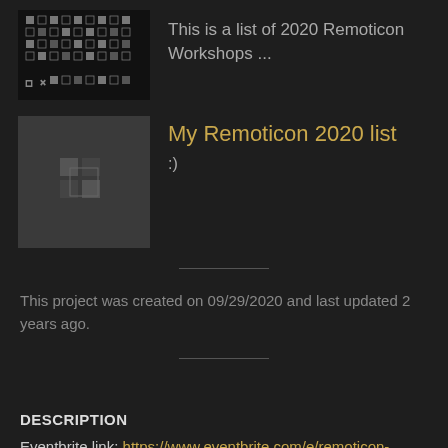This is a list of 2020 Remoticon Workshops ...
My Remoticon 2020 list
:)
This project was created on 09/29/2020 and last updated 2 years ago.
DESCRIPTION
Eventbrite link: https://www.eventbrite.com/e/remoticon-